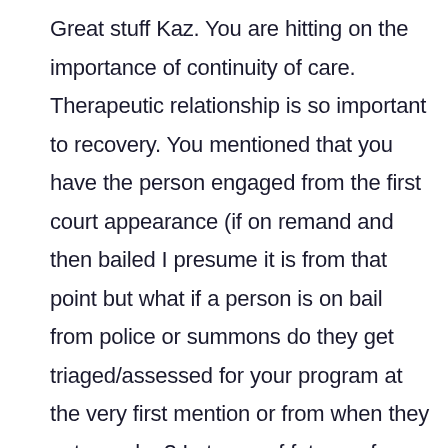Great stuff Kaz. You are hitting on the importance of continuity of care. Therapeutic relationship is so important to recovery. You mentioned that you have the person engaged from the first court appearance (if on remand and then bailed I presume it is from that point but what if a person is on bail from police or summons do they get triaged/assessed for your program at the very first mention or from when they enter a plea? In terms of future reform for your system I wonder if your